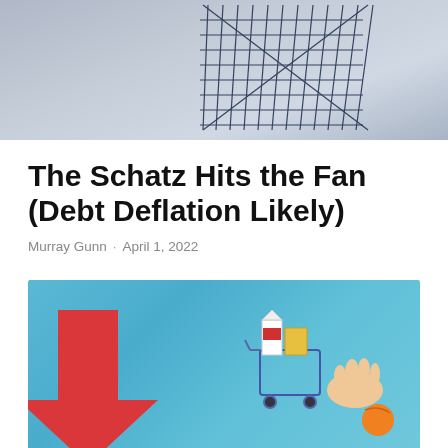[Figure (photo): Partial photo of a fan/basket object against a grey-blue background, cropped at top]
The Schatz Hits the Fan (Debt Deflation Likely)
Murray Gunn · April 1, 2022
[Figure (photo): Photo on blue background showing a red downward arrow pointing at a shopping cart filled with grocery items and a hand]